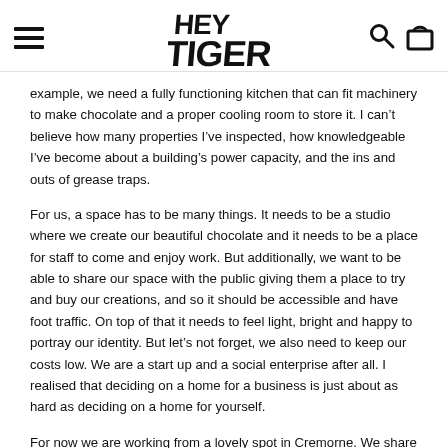HEY TIGER [logo with hamburger menu, search and cart icons]
example, we need a fully functioning kitchen that can fit machinery to make chocolate and a proper cooling room to store it. I can’t believe how many properties I’ve inspected, how knowledgeable I’ve become about a building’s power capacity, and the ins and outs of grease traps.
For us, a space has to be many things. It needs to be a studio where we create our beautiful chocolate and it needs to be a place for staff to come and enjoy work. But additionally, we want to be able to share our space with the public giving them a place to try and buy our creations, and so it should be accessible and have foot traffic. On top of that it needs to feel light, bright and happy to portray our identity. But let’s not forget, we also need to keep our costs low. We are a start up and a social enterprise after all. I realised that deciding on a home for a business is just about as hard as deciding on a home for yourself.
For now we are working from a lovely spot in Cremorne. We share our building with Square One Roasters which means we